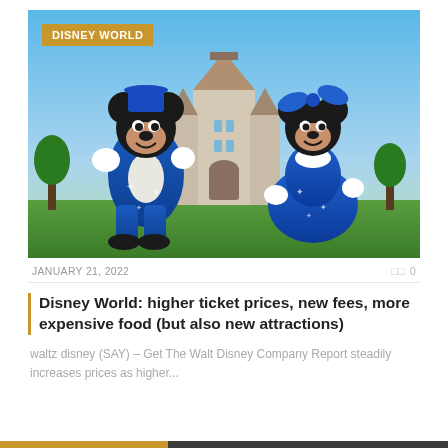[Figure (photo): Mickey Mouse and Minnie Mouse characters in blue sparkle costumes standing in front of Disneyland castle with blue sky background. An orange tag in upper left reads 'DISNEY WORLD'.]
JANUARY 21, 2022
0
Disney World: higher ticket prices, new fees, more expensive food (but also new attractions)
waltz disney (SAY) – Get The Walt Disney Company Report steadily increases prices as higher...